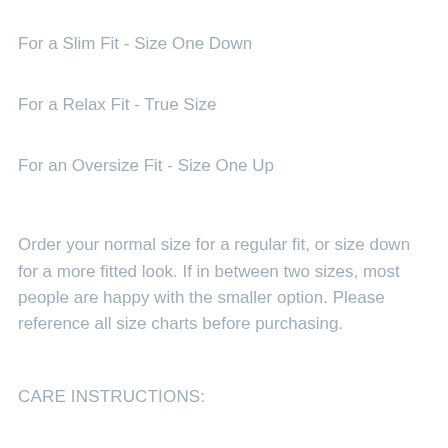For a Slim Fit - Size One Down
For a Relax Fit - True Size
For an Oversize Fit - Size One Up
Order your normal size for a regular fit, or size down for a more fitted look. If in between two sizes, most people are happy with the smaller option. Please reference all size charts before purchasing.
CARE INSTRUCTIONS:
· The colored shirts are a cotton-poly blend. The white